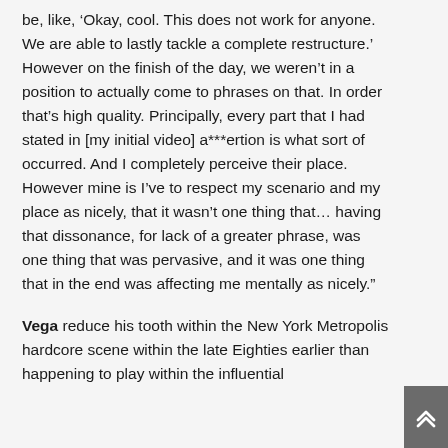be, like, ‘Okay, cool. This does not work for anyone. We are able to lastly tackle a complete restructure.’ However on the finish of the day, we weren’t in a position to actually come to phrases on that. In order that’s high quality. Principally, every part that I had stated in [my initial video] a***ertion is what sort of occurred. And I completely perceive their place. However mine is I’ve to respect my scenario and my place as nicely, that it wasn’t one thing that… having that dissonance, for lack of a greater phrase, was one thing that was pervasive, and it was one thing that in the end was affecting me mentally as nicely.”
Vega reduce his tooth within the New York Metropolis hardcore scene within the late Eighties earlier than happening to play within the influential